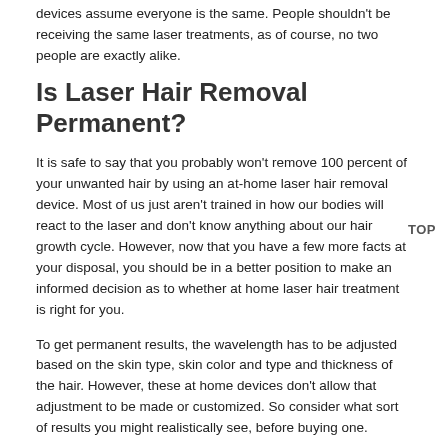devices assume everyone is the same. People shouldn't be receiving the same laser treatments, as of course, no two people are exactly alike.
Is Laser Hair Removal Permanent?
It is safe to say that you probably won't remove 100 percent of your unwanted hair by using an at-home laser hair removal device. Most of us just aren't trained in how our bodies will react to the laser and don't know anything about our hair growth cycle. However, now that you have a few more facts at your disposal, you should be in a better position to make an informed decision as to whether at home laser hair treatment is right for you.
To get permanent results, the wavelength has to be adjusted based on the skin type, skin color and type and thickness of the hair. However, these at home devices don't allow that adjustment to be made or customized. So consider what sort of results you might realistically see, before buying one.
Langley Laser Hair Removal
The Naked Truth Skin Care
111-12409 Harris Road
Pitt Meadows V3Y 2J5
(604) 757 – 7772